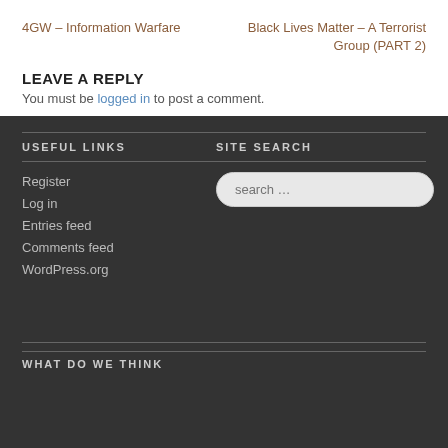4GW – Information Warfare
Black Lives Matter – A Terrorist Group (PART 2)
LEAVE A REPLY
You must be logged in to post a comment.
USEFUL LINKS
Register
Log in
Entries feed
Comments feed
WordPress.org
SITE SEARCH
WHAT DO WE THINK